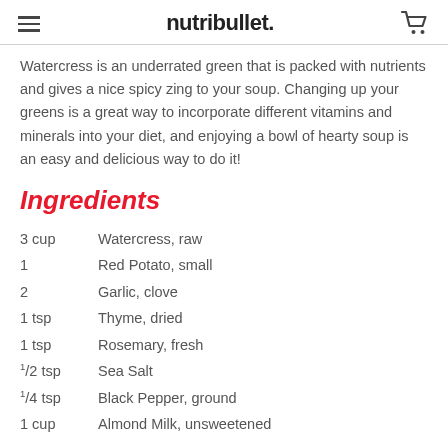nutribullet.
Watercress is an underrated green that is packed with nutrients and gives a nice spicy zing to your soup. Changing up your greens is a great way to incorporate different vitamins and minerals into your diet, and enjoying a bowl of hearty soup is an easy and delicious way to do it!
Ingredients
3 cup  Watercress, raw
1  Red Potato, small
2  Garlic, clove
1 tsp  Thyme, dried
1 tsp  Rosemary, fresh
1/2 tsp  Sea Salt
1/4 tsp  Black Pepper, ground
1 cup  Almond Milk, unsweetened